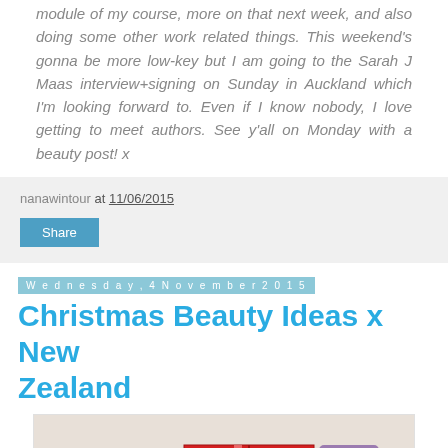module of my course, more on that next week, and also doing some other work related things. This weekend's gonna be more low-key but I am going to the Sarah J Maas interview+signing on Sunday in Auckland which I'm looking forward to. Even if I know nobody, I love getting to meet authors. See y'all on Monday with a beauty post! x
nanawintour at 11/06/2015
Share
Wednesday, 4 November 2015
Christmas Beauty Ideas x New Zealand
[Figure (photo): Photo showing wrapped gift boxes and beauty products, partially visible at bottom of page]